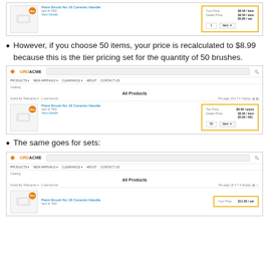[Figure (screenshot): OrdAcme storefront screenshot showing Paint Brush No 16 Ceramic Handle product with Your Price and Dealer Price tiers, quantity 1 shown, top portion]
However, if you choose 50 items, your price is recalculated to $8.99 because this is the tier pricing set for the quantity of 50 brushes.
[Figure (screenshot): OrdAcme storefront screenshot showing Paint Brush No 16 Ceramic Handle with Tier Price $8.99/piece, Dealer Price $9.50/item, $5.80/501, quantity 50 shown]
The same goes for sets:
[Figure (screenshot): OrdAcme storefront screenshot showing All Products catalog, Paint Brush No 16 Ceramic Handle with Your Price $11.60/set, partial view at bottom]